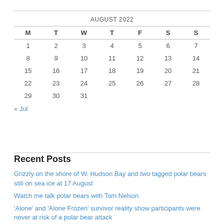AUGUST 2022
| M | T | W | T | F | S | S |
| --- | --- | --- | --- | --- | --- | --- |
| 1 | 2 | 3 | 4 | 5 | 6 | 7 |
| 8 | 9 | 10 | 11 | 12 | 13 | 14 |
| 15 | 16 | 17 | 18 | 19 | 20 | 21 |
| 22 | 23 | 24 | 25 | 26 | 27 | 28 |
| 29 | 30 | 31 |  |  |  |  |
« Jul
Recent Posts
Grizzly on the shore of W. Hudson Bay and two tagged polar bears still on sea ice at 17 August
Watch me talk polar bears with Tom Nelson
'Alone' and 'Alone Frozen' survivor reality show participants were never at risk of a polar bear attack